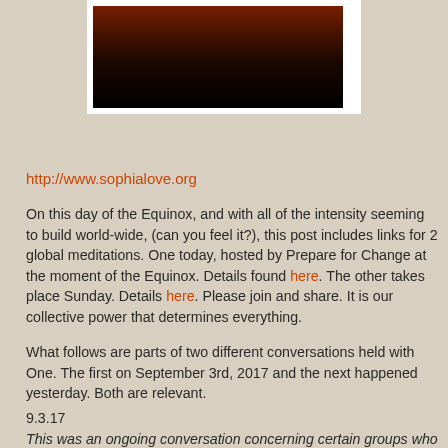[Figure (photo): Dark reddish-orange sunset or fire image with dark silhouette at top, shown with white polaroid-style border]
http://www.sophialove.org
On this day of the Equinox, and with all of the intensity seeming to build world-wide, (can you feel it?), this post includes links for 2 global meditations.  One today, hosted by Prepare for Change at the moment of the Equinox. Details found here. The other takes place Sunday. Details here. Please join and share.  It is our collective power that determines everything.
What follows are parts of two different conversations held with One.  The first on September 3rd, 2017 and the next happened yesterday. Both are relevant.
9.3.17
This was an ongoing conversation concerning certain groups who are actively attempting damage to the planet and the